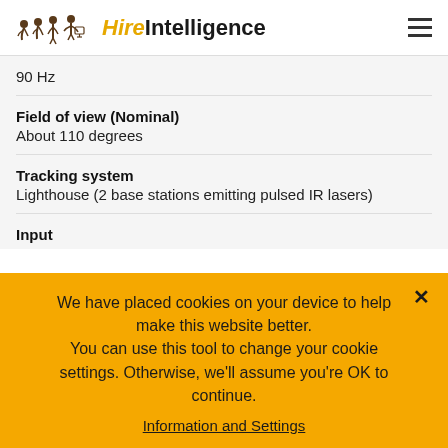HireIntelligence
90 Hz
Field of view (Nominal)
About 110 degrees
Tracking system
Lighthouse (2 base stations emitting pulsed IR lasers)
Input
We have placed cookies on your device to help make this website better. You can use this tool to change your cookie settings. Otherwise, we'll assume you're OK to continue.
Information and Settings